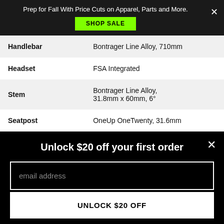Prep for Fall With Price Cuts on Apparel, Parts and More.
SHOP SALE
| Component | Value |
| --- | --- |
| Handlebar | Bontrager Line Alloy, 710mm |
| Headset | FSA Integrated |
| Stem | Bontrager Line Alloy, 31.8mm x 60mm, 6° |
| Seatpost | OneUp OneTwenty, 31.6mm |
Unlock $20 off your first order
email address
UNLOCK $20 OFF
*Valid for one-time use on new accounts